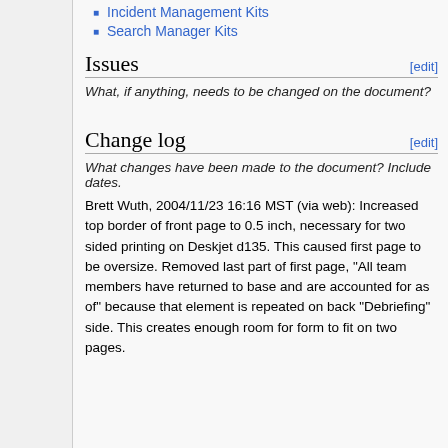Incident Management Kits
Search Manager Kits
Issues
What, if anything, needs to be changed on the document?
Change log
What changes have been made to the document? Include dates.
Brett Wuth, 2004/11/23 16:16 MST (via web): Increased top border of front page to 0.5 inch, necessary for two sided printing on Deskjet d135. This caused first page to be oversize. Removed last part of first page, "All team members have returned to base and are accounted for as of" because that element is repeated on back "Debriefing" side. This creates enough room for form to fit on two pages.